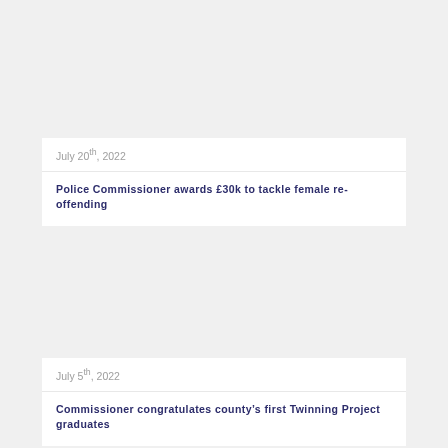July 20th, 2022
Police Commissioner awards £30k to tackle female re-offending
July 5th, 2022
Commissioner congratulates county's first Twinning Project graduates